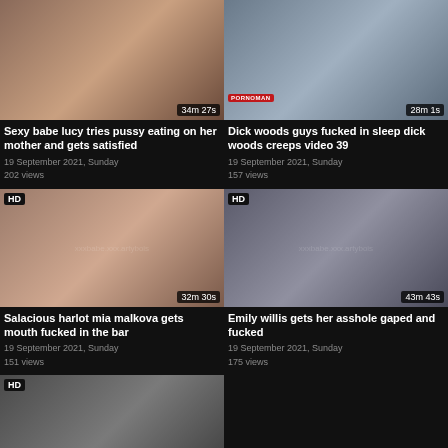[Figure (screenshot): Video thumbnail 1 - duration 34m 27s]
Sexy babe lucy tries pussy eating on her mother and gets satisfied
19 September 2021, Sunday
202 views
[Figure (screenshot): Video thumbnail 2 - duration 28m 1s, pornoman logo]
Dick woods guys fucked in sleep dick woods creeps video 39
19 September 2021, Sunday
157 views
[Figure (screenshot): Video thumbnail 3 HD - duration 32m 30s]
Salacious harlot mia malkova gets mouth fucked in the bar
19 September 2021, Sunday
151 views
[Figure (screenshot): Video thumbnail 4 HD - duration 43m 43s]
Emily willis gets her asshole gaped and fucked
19 September 2021, Sunday
175 views
[Figure (screenshot): Video thumbnail 5 HD - duration 41m 32s, bottom watermark]